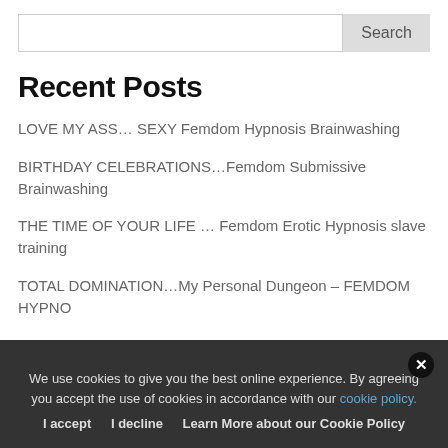Recent Posts
LOVE MY ASS… SEXY Femdom Hypnosis Brainwashing
BIRTHDAY CELEBRATIONS…Femdom Submissive Brainwashing
THE TIME OF YOUR LIFE … Femdom Erotic Hypnosis slave training
TOTAL DOMINATION…My Personal Dungeon – FEMDOM HYPNO
We use cookies to give you the best online experience. By agreeing you accept the use of cookies in accordance with our cookie policy.
I accept   I decline   Learn More about our Cookie Policy